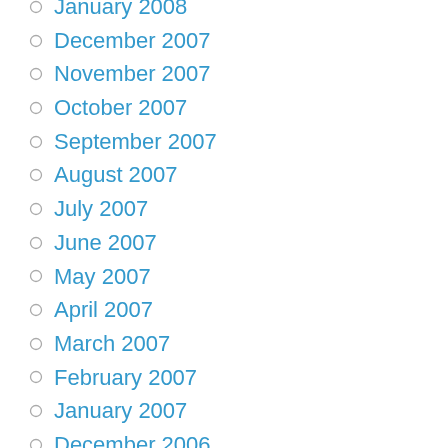January 2008
December 2007
November 2007
October 2007
September 2007
August 2007
July 2007
June 2007
May 2007
April 2007
March 2007
February 2007
January 2007
December 2006
November 2006
October 2006